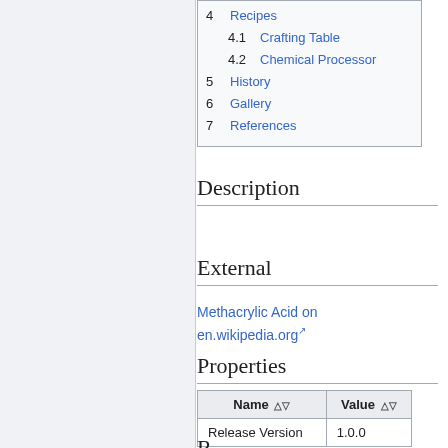4 Recipes
4.1 Crafting Table
4.2 Chemical Processor
5 History
6 Gallery
7 References
Description
External
Methacrylic Acid on en.wikipedia.org
Properties
| Name | Value |
| --- | --- |
| Release Version | 1.0.0 |
R...